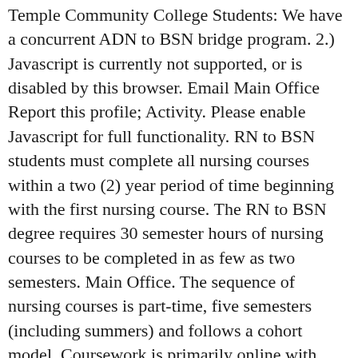Temple Community College Students: We have a concurrent ADN to BSN bridge program. 2.) Javascript is currently not supported, or is disabled by this browser. Email Main Office Report this profile; Activity. Please enable Javascript for full functionality. RN to BSN students must complete all nursing courses within a two (2) year period of time beginning with the first nursing course. The RN to BSN degree requires 30 semester hours of nursing courses to be completed in as few as two semesters. Main Office. The sequence of nursing courses is part-time, five semesters (including summers) and follows a cohort model. Coursework is primarily online with state-of-the-art technology, including high tech simulation laboratories in the nursing building at Texas State University, Round Rock. Box T-0500, Stephenville, TX 76402. This is an online